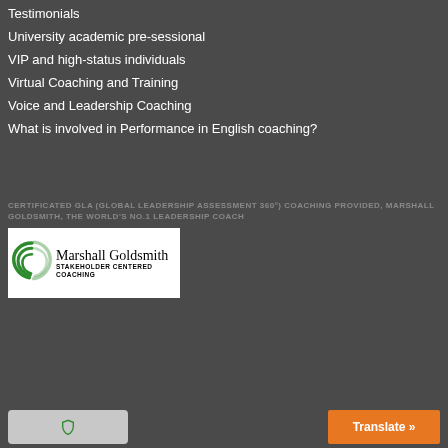Testimonials
University academic pre-sessional
VIP and high-status individuals
Virtual Coaching and Training
Voice and Leadership Coaching
What is involved in Performance in English coaching?
CERTIFICATED GLA (GLOBAL LEADERSHIP ASSESSMENT 360°) COACHING PROVIDED, MARSHALL GOLDSMITH, THE WORLD'S NO.1 LEADERSHIP COACH
[Figure (logo): Marshall Goldsmith Stakeholder Centered Coaching logo with green circular icon]
Translate »